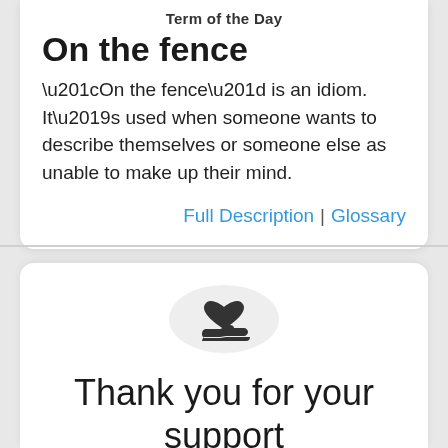Term of the Day
On the fence
“On the fence” is an idiom. It’s used when someone wants to describe themselves or someone else as unable to make up their mind.
Full Description | Glossary
[Figure (illustration): A hand holding a heart icon inside a light gray circle]
Thank you for your support